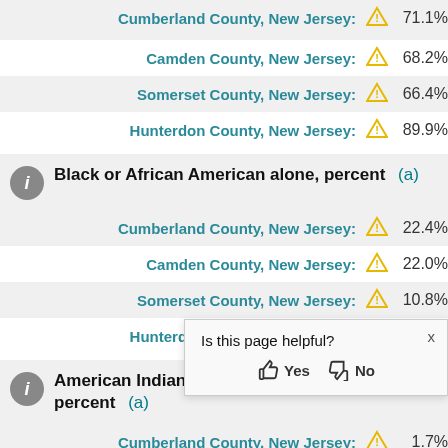Cumberland County, New Jersey: 71.1%
Camden County, New Jersey: 68.2%
Somerset County, New Jersey: 66.4%
Hunterdon County, New Jersey: 89.9%
Black or African American alone, percent (a)
Cumberland County, New Jersey: 22.4%
Camden County, New Jersey: 22.0%
Somerset County, New Jersey: 10.8%
Hunterdon County, New Jersey: 3.3%
American Indian and Alaska Native alone, percent (a)
Cumberland County, New Jersey: 1.7%
Camden County, New Jersey: 0.7%
Somerset County, New Jersey: (partially obscured)
Hunterdon County, New Jersey: (partially obscured)